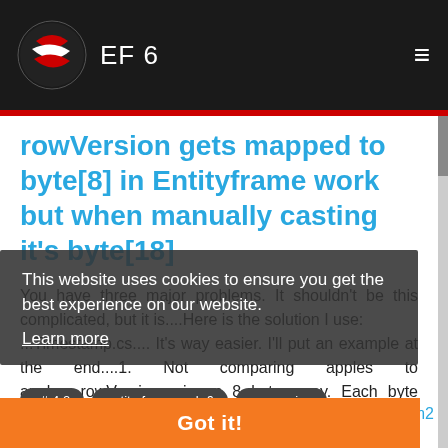EF 6
rowVersion gets mapped to byte[8] in Entityframe work but when manually casting it's byte[18]
You have three major problems. It shouldn't be this complicated, but it is....Here is the solution I use: ...Timestamp.cs.... It's way easier. I'll put an example at the end....1. Not comparing apples to apples...rowVersion... is an 8 byte array. Each byte represents a "section" of an 8-bit integer... and will be c...System.Text.ASCIIEncodi...
This website uses cookies to ensure you get the best experience on our website.
Learn more
Got it!